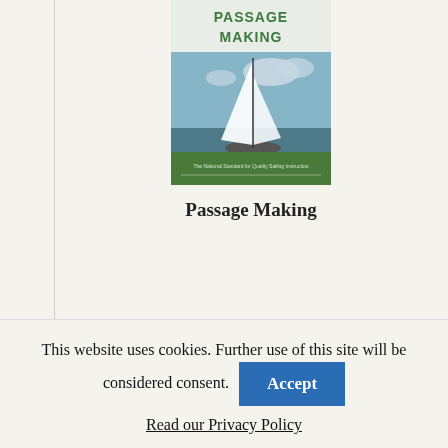[Figure (photo): Book cover for 'Passage Making' — green and white cover with a sailboat on the water, text 'The National Standard for Quality Sailing Instruction']
Passage Making
[Figure (photo): Partial book cover for 'The Annapolis Book of...' — blue cover with white text]
This website uses cookies. Further use of this site will be considered consent. Accept
Read our Privacy Policy